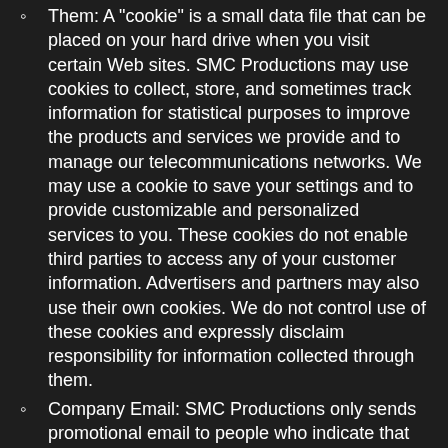Them: A "cookie" is a small data file that can be placed on your hard drive when you visit certain Web sites. SMC Productions may use cookies to collect, store, and sometimes track information for statistical purposes to improve the products and services we provide and to manage our telecommunications networks. We may use a cookie to save your settings and to provide customizable and personalized services to you. These cookies do not enable third parties to access any of your customer information. Advertisers and partners may also use their own cookies. We do not control use of these cookies and expressly disclaim responsibility for information collected through them.
Company Email: SMC Productions only sends promotional email to people who indicate that they want to receive email. SMC Productions does not and will never